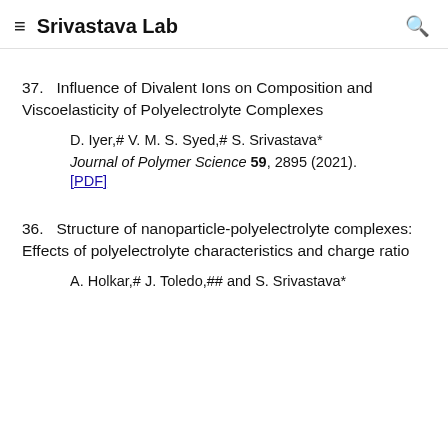≡  Srivastava Lab  🔍
37.   Influence of Divalent Ions on Composition and Viscoelasticity of Polyelectrolyte Complexes

D. Iyer,# V. M. S. Syed,# S. Srivastava*

Journal of Polymer Science 59, 2895 (2021).
[PDF]
36.   Structure of nanoparticle-polyelectrolyte complexes: Effects of polyelectrolyte characteristics and charge ratio

A. Holkar,# J. Toledo,## and S. Srivastava*